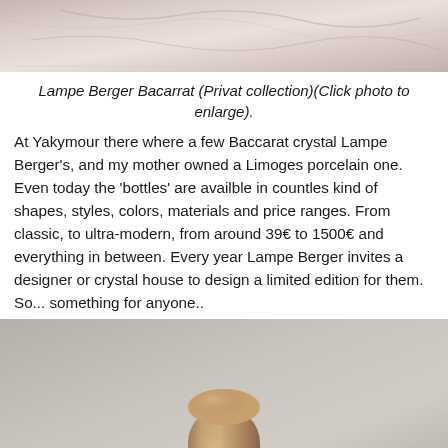[Figure (photo): Top portion of a Lampe Berger Baccarat crystal lamp, showing a close-up of the lamp body with pinkish marble-like appearance]
Lampe Berger Bacarrat (Privat collection)(Click photo to enlarge).
At Yakymour there where a few Baccarat crystal Lampe Berger’s, and my mother owned a Limoges porcelain one. Even today the ‘bottles’ are availble in countles kind of shapes, styles, colors, materials and price ranges. From classic, to ultra-modern, from around 39€ to 1500€ and everything in between. Every year Lampe Berger invites a designer or crystal house to design a limited edition for them. So... something for anyone..
[Figure (photo): A bronze/gold metallic Lampe Berger lamp bottle photographed against a light gray background]